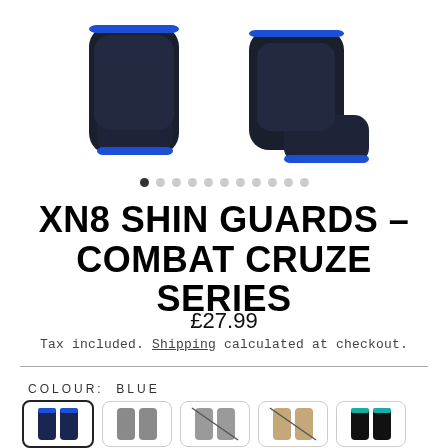[Figure (photo): Two dark navy/black shin guards with blue trim, shown from different angles — front view on left, side/back view on right]
XN8 SHIN GUARDS – COMBAT CRUZE SERIES
£27.99
Tax included. Shipping calculated at checkout.
COLOUR: BLUE
[Figure (photo): Five colour swatch options for shin guards: Blue (selected, dark navy), Grey (available), Grey cross-out (unavailable), Beige/tan cross-out (unavailable), Black with teal trim (available)]